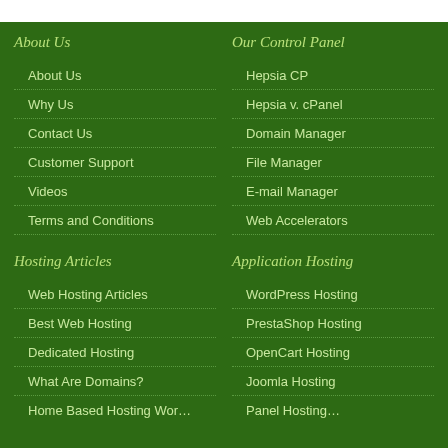About Us
About Us
Why Us
Contact Us
Customer Support
Videos
Terms and Conditions
Our Control Panel
Hepsia CP
Hepsia v. cPanel
Domain Manager
File Manager
E-mail Manager
Web Accelerators
Hosting Articles
Web Hosting Articles
Best Web Hosting
Dedicated Hosting
What Are Domains?
Application Hosting
WordPress Hosting
PrestaShop Hosting
OpenCart Hosting
Joomla Hosting